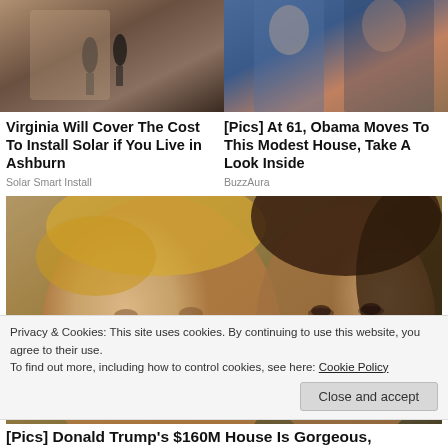[Figure (photo): Two cropped article thumbnail images side by side at top of page]
Virginia Will Cover The Cost To Install Solar if You Live in Ashburn
Solar Smart Install
[Pics] At 61, Obama Moves To This Modest House, Take A Look Inside
BuzzAura
[Figure (photo): Large close-up photo of Donald Trump and a woman side by side]
Privacy & Cookies: This site uses cookies. By continuing to use this website, you agree to their use.
To find out more, including how to control cookies, see here: Cookie Policy
Close and accept
[Pics] Donald Trump's $160M House Is Gorgeous,